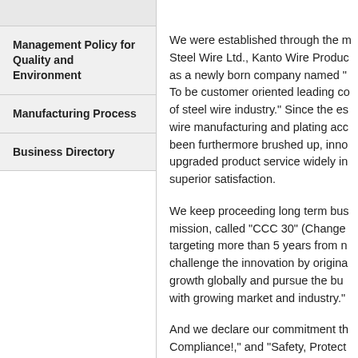Management Policy for Quality and Environment
Manufacturing Process
Business Directory
We were established through the m... Steel Wire Ltd., Kanto Wire Produc... as a newly born company named "... To be customer oriented leading co... of steel wire industry." Since the es... wire manufacturing and plating acc... been furthermore brushed up, inno... upgraded product service widely in... superior satisfaction.
We keep proceeding long term bu... mission, called "CCC 30" (Change... targeting more than 5 years from n... challenge the innovation by origina... growth globally and pursue the bu... with growing market and industry."
And we declare our commitment th... Compliance!," and "Safety, Protect...